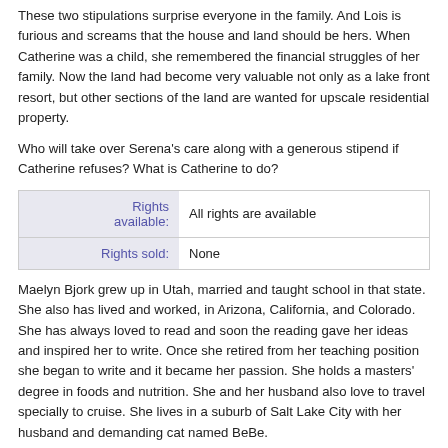These two stipulations surprise everyone in the family. And Lois is furious and screams that the house and land should be hers. When Catherine was a child, she remembered the financial struggles of her family. Now the land had become very valuable not only as a lake front resort, but other sections of the land are wanted for upscale residential property.
Who will take over Serena's care along with a generous stipend if Catherine refuses? What is Catherine to do?
| Rights available: | Rights sold: |
| --- | --- |
| All rights are available |
| None |
Maelyn Bjork grew up in Utah, married and taught school in that state. She also has lived and worked, in Arizona, California, and Colorado. She has always loved to read and soon the reading gave her ideas and inspired her to write. Once she retired from her teaching position she began to write and it became her passion. She holds a masters' degree in foods and nutrition. She and her husband also love to travel specially to cruise. She lives in a suburb of Salt Lake City with her husband and demanding cat named BeBe.
Maelyn Bjork began her began to a write novels, short stories and non -fiction about the time she retired from her teaching career. She soon joined Romance Writers of America, and another writing organization. She has lived in four states graduated for the University of Utah with a degree in general Home economics, holds a master degree for Arizona State University in foods and nutrition. Maelyn lives in a suburb of Salt Lake City, with her husband and a cat named BeBe. She enjoys visiting her children and grandchildren, because they live close enough see nearly every week.